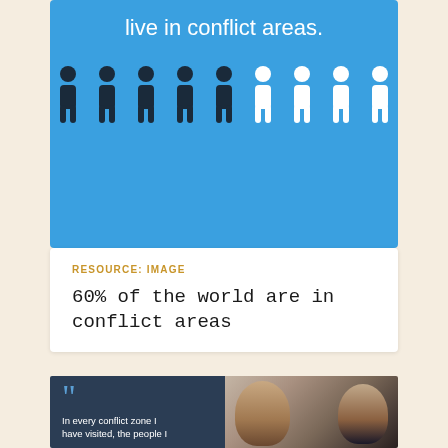[Figure (infographic): Blue infographic card with text 'live in conflict areas.' and a row of 9 person icons — 5 dark/navy and 4 white — representing 60% statistic]
RESOURCE: IMAGE
60% of the world are in conflict areas
[Figure (photo): Split card: left side dark blue background with large blue quotation marks and text 'In every conflict zone I have visited, the people I'; right side shows photo of two children]